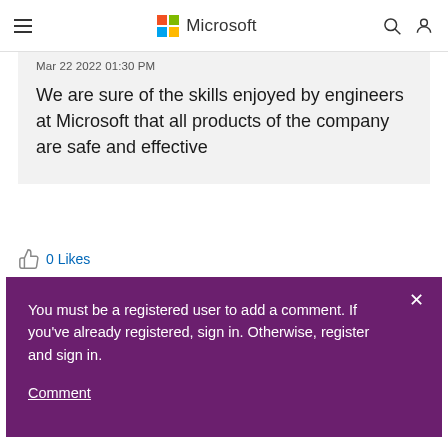Microsoft
Mar 22 2022 01:30 PM
We are sure of the skills enjoyed by engineers at Microsoft that all products of the company are safe and effective
0 Likes
You must be a registered user to add a comment. If you've already registered, sign in. Otherwise, register and sign in.

Comment